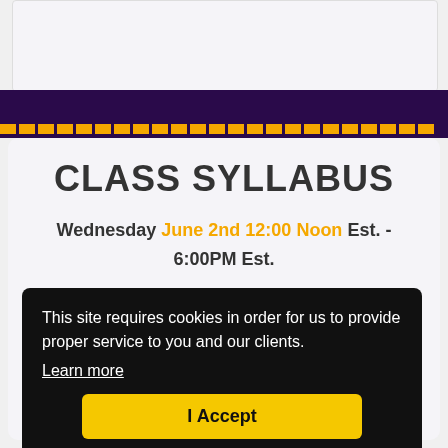[Figure (screenshot): Top white box placeholder area with light gray background]
CLASS SYLLABUS
Wednesday June 2nd 12:00 Noon Est. - 6:00PM Est.
This site requires cookies in order for us to provide proper service to you and our clients. Learn more
I Accept
How To Become A Super Affiliate?